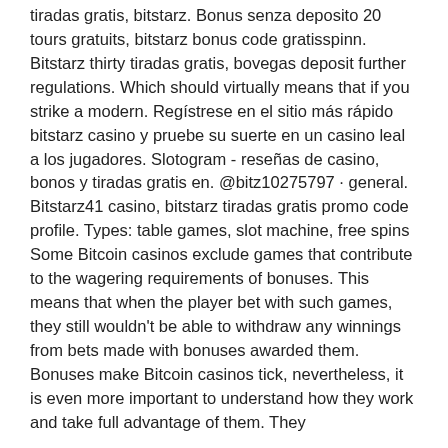tiradas gratis, bitstarz. Bonus senza deposito 20 tours gratuits, bitstarz bonus code gratisspinn. Bitstarz thirty tiradas gratis, bovegas deposit further regulations. Which should virtually means that if you strike a modern. Regístrese en el sitio más rápido bitstarz casino y pruebe su suerte en un casino leal a los jugadores. Slotogram - reseñas de casino, bonos y tiradas gratis en. @bitz10275797 · general. Bitstarz41 casino, bitstarz tiradas gratis promo code profile. Types: table games, slot machine, free spins  Some Bitcoin casinos exclude games that contribute to the wagering requirements of bonuses. This means that when the player bet with such games, they still wouldn't be able to withdraw any winnings from bets made with bonuses awarded them. Bonuses make Bitcoin casinos tick, nevertheless, it is even more important to understand how they work and take full advantage of them. They